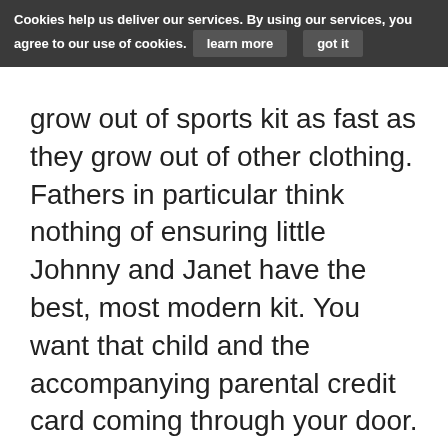Cookies help us deliver our services. By using our services, you agree to our use of cookies.  learn more  got it
grow out of sports kit as fast as they grow out of other clothing. Fathers in particular think nothing of ensuring little Johnny and Janet have the best, most modern kit. You want that child and the accompanying parental credit card coming through your door.
You might say: “That’s not team related.” You could be right. Every team requirement might be provided by the club they’re part of. Or it might not. They might need a match ball and a couple of training balls. They might need their own flags and nets.